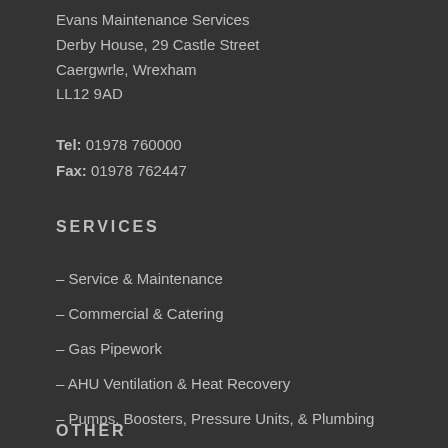Evans Maintenance Services
Derby House, 29 Castle Street
Caergwrle, Wrexham
LL12 9AD
Tel: 01978 760000
Fax: 01978 762447
SERVICES
– Service & Maintenance
– Commercial & Catering
– Gas Pipework
– AHU Ventilation & Heat Recovery
– Pumps, Boosters, Pressure Units, & Plumbing
OTHER